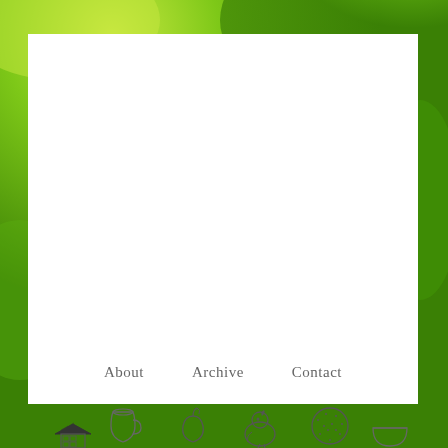[Figure (illustration): Green leafy background watercolor texture covering the full page with a white content panel in the center]
About   Archive   Contact
[Figure (illustration): Row of small cartoon line-art icons at the bottom: a house with solar panels, a jug/pitcher, a fruit (apple or similar), a chicken/hen, a round spiky bush/tree, and a bowl]